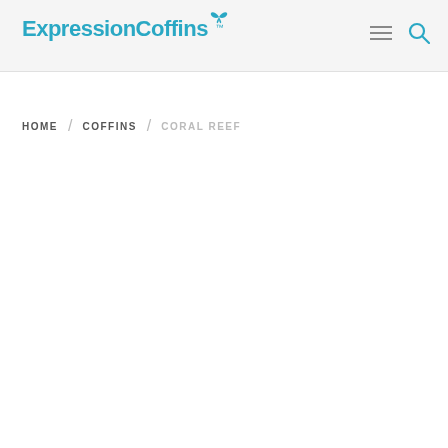ExpressionCoffins™
HOME / COFFINS / CORAL REEF